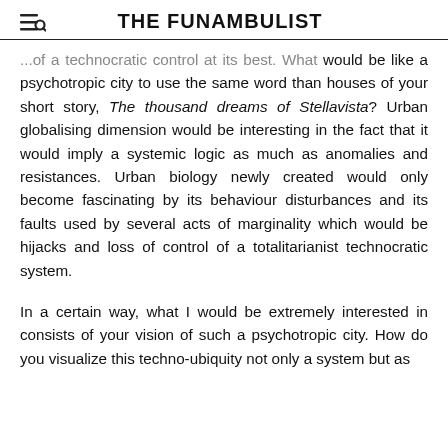THE FUNAMBULIST
...of a technocratic control at its best. What would be like a psychotropic city to use the same word than houses of your short story, The thousand dreams of Stellavista? Urban globalising dimension would be interesting in the fact that it would imply a systemic logic as much as anomalies and resistances. Urban biology newly created would only become fascinating by its behaviour disturbances and its faults used by several acts of marginality which would be hijacks and loss of control of a totalitarianist technocratic system.
In a certain way, what I would be extremely interested in consists of your vision of such a psychotropic city. How do you visualize this techno-ubiquity not only a system but as